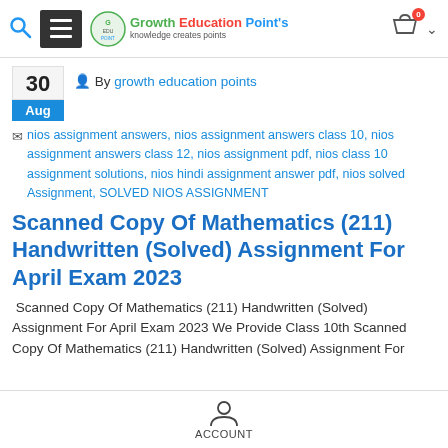Growth Education Points - navigation bar with search, menu, logo, cart
By growth education points — 30 Aug
nios assignment answers, nios assignment answers class 10, nios assignment answers class 12, nios assignment pdf, nios class 10 assignment solutions, nios hindi assignment answer pdf, nios solved Assignment, SOLVED NIOS ASSIGNMENT
Scanned Copy Of Mathematics (211) Handwritten (Solved) Assignment For April Exam 2023
Scanned Copy Of Mathematics (211) Handwritten (Solved) Assignment For April Exam 2023 We Provide Class 10th Scanned Copy Of Mathematics (211) Handwritten (Solved) Assignment For
ACCOUNT